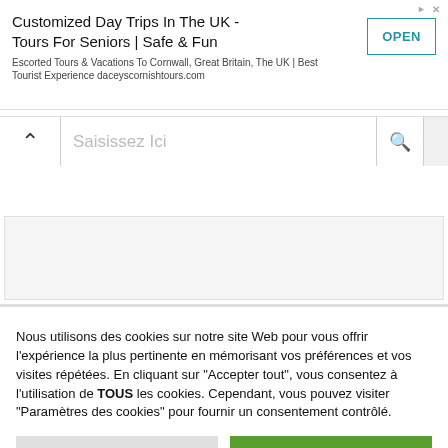[Figure (screenshot): Advertisement banner for 'Customized Day Trips In The UK - Tours For Seniors | Safe & Fun' with an OPEN button and ad icons.]
[Figure (screenshot): Search bar with chevron icon, placeholder text 'Saisissez Ici', and a search magnifier icon.]
Nous utilisons des cookies sur notre site Web pour vous offrir l'expérience la plus pertinente en mémorisant vos préférences et vos visites répétées. En cliquant sur "Accepter tout", vous consentez à l'utilisation de TOUS les cookies. Cependant, vous pouvez visiter "Paramètres des cookies" pour fournir un consentement contrôlé.
Paramètres des cookies
Accepter tout